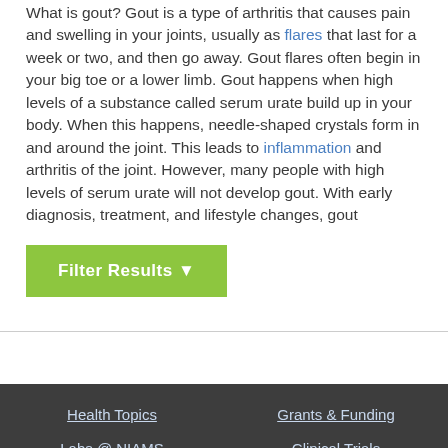What is gout? Gout is a type of arthritis that causes pain and swelling in your joints, usually as flares that last for a week or two, and then go away. Gout flares often begin in your big toe or a lower limb. Gout happens when high levels of a substance called serum urate build up in your body. When this happens, needle-shaped crystals form in and around the joint. This leads to inflammation and arthritis of the joint. However, many people with high levels of serum urate will not develop gout. With early diagnosis, treatment, and lifestyle changes, gout
[Figure (screenshot): Green 'Filter Results' button with a funnel icon]
Health Topics | Grants & Funding | Labs @ NIAMS | Clinical Trials | News Room | About NIAMS